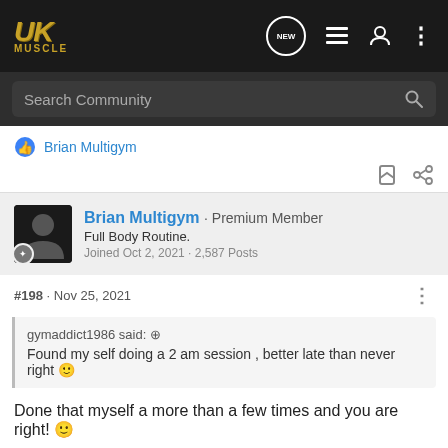UK MUSCLE - Navigation bar with Search Community
Brian Multigym
Brian Multigym · Premium Member
Full Body Routine.
Joined Oct 2, 2021 · 2,587 Posts
#198 · Nov 25, 2021
gymaddict1986 said:
Found my self doing a 2 am session , better late than never right 🙂
Done that myself a more than a few times and you are right! 🙂